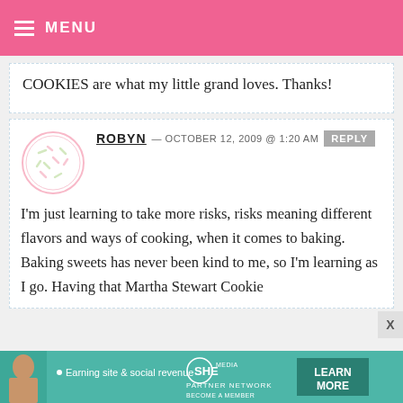MENU
COOKIES are what my little grand loves. Thanks!
ROBYN — OCTOBER 12, 2009 @ 1:20 AM  REPLY
I'm just learning to take more risks, risks meaning different flavors and ways of cooking, when it comes to baking. Baking sweets has never been kind to me, so I'm learning as I go. Having that Martha Stewart Cookie
[Figure (other): Advertisement banner: SHE partner network - Earning site & social revenue, LEARN MORE button]